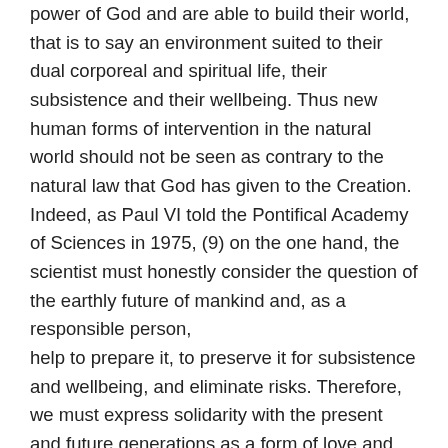power of God and are able to build their world, that is to say an environment suited to their dual corporeal and spiritual life, their subsistence and their wellbeing. Thus new human forms of intervention in the natural world should not be seen as contrary to the natural law that God has given to the Creation. Indeed, as Paul VI told the Pontifical Academy of Sciences in 1975, (9) on the one hand, the scientist must honestly consider the question of the earthly future of mankind and, as a responsible person, help to prepare it, to preserve it for subsistence and wellbeing, and eliminate risks. Therefore, we must express solidarity with the present and future generations as a form of love and Christian charity. On the other hand, the scientist also must be animated by the confidence that nature has in store secret possibilities that are for human intelligence to